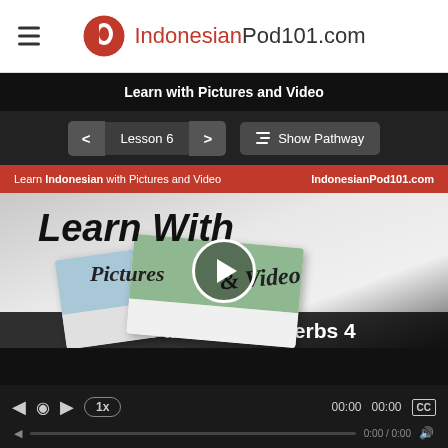IndonesianPod101.com
Learn with Pictures and Video
< Lesson 6 >   Show Pathway
[Figure (screenshot): Video thumbnail showing 'Learn With Pictures & Video' with 'Top 20 Indonesian Verbs 4' text at bottom, IndonesianPod101.com branding on red bar at top, and a play button in the center.]
00:00   00:00   0:00 / 0:00   1x   CC